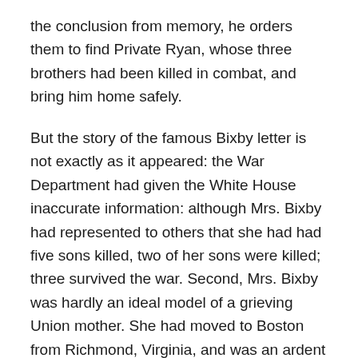the conclusion from memory, he orders them to find Private Ryan, whose three brothers had been killed in combat, and bring him home safely.
But the story of the famous Bixby letter is not exactly as it appeared: the War Department had given the White House inaccurate information: although Mrs. Bixby had represented to others that she had had five sons killed, two of her sons were killed; three survived the war. Second, Mrs. Bixby was hardly an ideal model of a grieving Union mother. She had moved to Boston from Richmond, Virginia, and was an ardent Southern sympathizer. Some contemporaries said she ran a brothel and was wholly untrustworthy. Finally, while most Lincoln scholars believe that the president wrote the letter, some argue, for a variety of reasons, that the epistolary masterpiece was authored by his private secretary, John